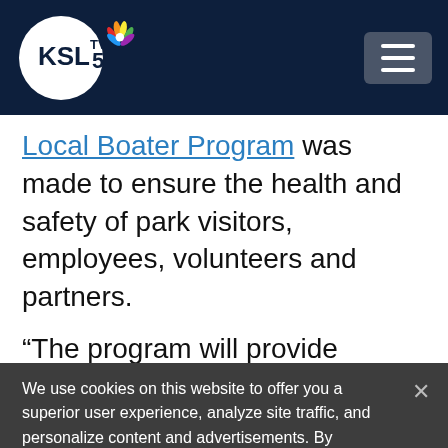[Figure (logo): KSL TV 5 NBC logo on dark navy navigation bar with hamburger menu button]
Local Boater Program was made to ensure the health and safety of park visitors, employees, volunteers and partners.

“The program will provide limited day use boat access to the lake beginning Friday,
We use cookies on this website to offer you a superior user experience, analyze site traffic, and personalize content and advertisements. By continuing to use our site, you consent to our use of cookies. Please visit our Privacy Policy for more information.
Accept Cookies